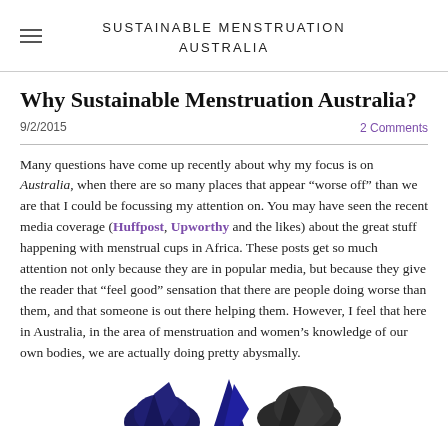SUSTAINABLE MENSTRUATION AUSTRALIA
Why Sustainable Menstruation Australia?
9/2/2015   2 Comments
Many questions have come up recently about why my focus is on Australia, when there are so many places that appear “worse off” than we are that I could be focussing my attention on. You may have seen the recent media coverage (Huffpost, Upworthy and the likes) about the great stuff happening with menstrual cups in Africa. These posts get so much attention not only because they are in popular media, but because they give the reader that “feel good” sensation that there are people doing worse than them, and that someone is out there helping them. However, I feel that here in Australia, in the area of menstruation and women’s knowledge of our own bodies, we are actually doing pretty abysmally.
[Figure (photo): Partial image of dark blue fabric or clothing items at the bottom of the page]